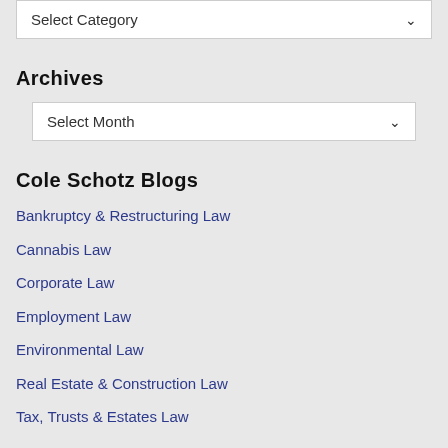Select Category
Archives
Select Month
Cole Schotz Blogs
Bankruptcy & Restructuring Law
Cannabis Law
Corporate Law
Employment Law
Environmental Law
Real Estate & Construction Law
Tax, Trusts & Estates Law